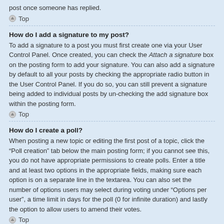post once someone has replied.
Top
How do I add a signature to my post?
To add a signature to a post you must first create one via your User Control Panel. Once created, you can check the Attach a signature box on the posting form to add your signature. You can also add a signature by default to all your posts by checking the appropriate radio button in the User Control Panel. If you do so, you can still prevent a signature being added to individual posts by un-checking the add signature box within the posting form.
Top
How do I create a poll?
When posting a new topic or editing the first post of a topic, click the “Poll creation” tab below the main posting form; if you cannot see this, you do not have appropriate permissions to create polls. Enter a title and at least two options in the appropriate fields, making sure each option is on a separate line in the textarea. You can also set the number of options users may select during voting under “Options per user”, a time limit in days for the poll (0 for infinite duration) and lastly the option to allow users to amend their votes.
Top
Why can't I add more poll options?
The limit for poll options is set by the board administrator. If you feel you